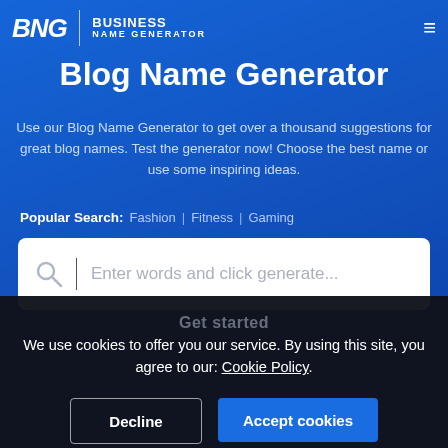BNG | BUSINESS NAME GENERATOR
Blog Name Generator
Use our Blog Name Generator to get over a thousand suggestions for great blog names. Test the generator now! Choose the best name or use some inspiring ideas.
Popular Search: Fashion | Fitness | Gaming
[Figure (screenshot): Search input box with placeholder text: Enter words and click generate...]
We use cookies to offer you our service. By using this site, you agree to our: Cookie Policy.
Decline | Accept cookies